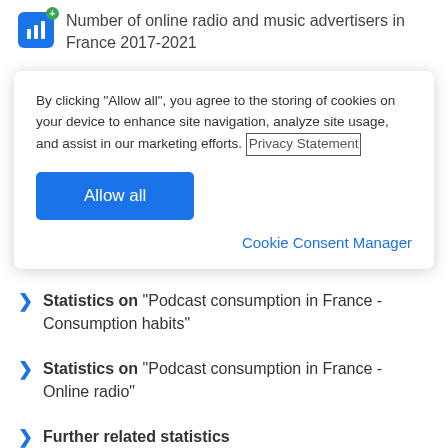Number of online radio and music advertisers in France 2017-2021
By clicking “Allow all”, you agree to the storing of cookies on your device to enhance site navigation, analyze site usage, and assist in our marketing efforts. Privacy Statement
Allow all
Cookie Consent Manager
Statistics on “Podcast consumption in France - Consumption habits”
Statistics on “Podcast consumption in France - Online radio”
Further related statistics